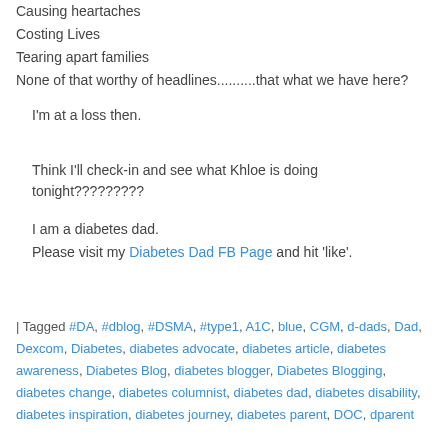Causing heartaches
Costing Lives
Tearing apart families
None of that worthy of headlines..........that what we have here?
I'm at a loss then.
Think I'll check-in and see what Khloe is doing tonight?????????
I am a diabetes dad.
Please visit my Diabetes Dad FB Page and hit 'like'.
| Tagged #DA, #dblog, #DSMA, #type1, A1C, blue, CGM, d-dads, Dad, Dexcom, Diabetes, diabetes advocate, diabetes article, diabetes awareness, Diabetes Blog, diabetes blogger, Diabetes Blogging, diabetes change, diabetes columnist, diabetes dad, diabetes disability, diabetes inspiration, diabetes journey, diabetes parent, DOC, dparent